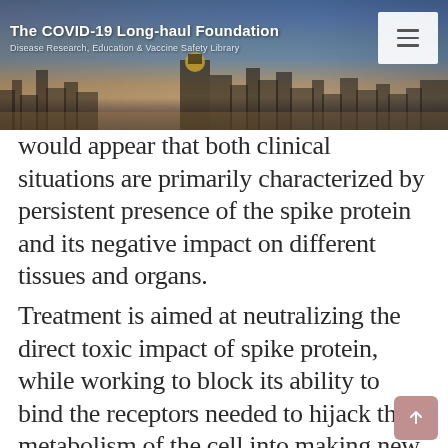The COVID-19 Long-haul Foundation
Disease Research, Education & Vaccine Safety Library
would appear that both clinical situations are primarily characterized by persistent presence of the spike protein and its negative impact on different tissues and organs.
Treatment is aimed at neutralizing the direct toxic impact of spike protein, while working to block its ability to bind the receptors needed to hijack the metabolism of the cell into making new viruses and/or more